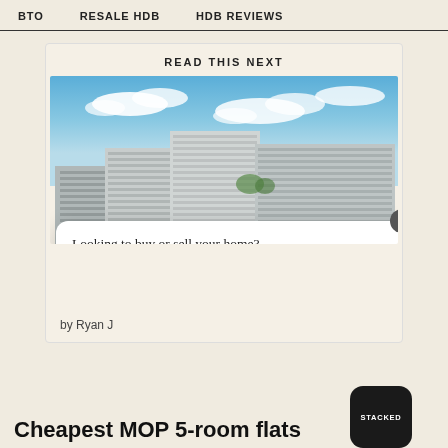BTO   RESALE HDB   HDB REVIEWS
READ THIS NEXT
[Figure (photo): Exterior photo of a large white/grey terraced residential building with curved horizontal balconies against a blue sky with clouds]
Looking to buy or sell your home?
Yes!
by Ryan J
Cheapest MOP 5-room flats